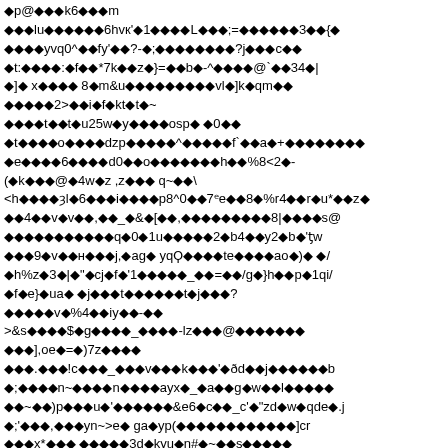◆p@◆◆◆k6◆◆◆m
◆◆◆lu◆◆◆◆◆◆6hvк'◆1◆◆◆◆L◆◆◆;=◆◆◆◆◆◆3◆◆{
◆◆◆◆yvq0^◆◆fy'◆◆?-◆;◆◆◆◆◆◆◆◆?j◆◆◆c◆◆
◆t:◆◆◆◆:◆f◆◆*7k◆◆z◆}=◆◆b◆-^◆◆◆◆@`◆◆34◆|
◆]◆ x◆◆◆◆ 8◆m&u◆◆◆◆◆◆◆◆◆vl◆]k◆qm◆◆
◆◆◆◆◆2>◆◆i◆f◆kt◆t◆~
◆◆◆◆t◆◆t◆u25w◆y◆◆◆◆osp◆ ◆0◆◆
◆t◆◆◆◆o◆◆◆◆dzp◆◆◆◆◆^◆◆◆◆◆f`◆◆a◆+◆◆◆◆◆◆◆◆
◆e◆◆◆◆6◆◆◆◆d0◆◆o◆◆◆◆◆◆◆h◆◆%8<2◆-
(◆k◆◆◆@◆4w◆z ,z◆◆◆ q~◆◆\
<h◆◆◆◆ȝl◆6◆◆◆i◆◆◆◆p8^0◆◆7ᵉe◆◆8◆%r4◆◆r◆u*◆◆z◆
◆◆4◆◆v◆v◆◆,◆◆_◆&◆[◆◆,◆◆◆◆◆◆◆◆◆8|◆◆◆◆s@
◆◆◆◆◆◆◆◆◆◆◆q◆0◆1u◆◆◆◆◆2◆b4◆◆y2◆b◆'ƫw
◆◆◆9◆v◆◆н◆◆◆j,◆ag◆ yqϘ◆◆◆◆te◆◆◆◆ao◆)◆ ◆/
◆h%z◆3◆|◆"◆cj◆f◆'1◆◆◆◆◆_◆◆=◆◆/g◆}h◆◆p◆1qi/
◆f◆e}◆ua◆ ◆j◆◆◆t◆◆◆◆◆◆t◆j◆◆◆?
◆◆◆◆◆v◆%4◆◆iy◆◆-◆◆
>&s◆◆◆◆$◆g◆◆◆◆_◆◆◆◆-lz◆◆◆@◆◆◆◆◆◆◆
◆◆◆],oe◆=◆)7z◆◆◆◆
◆◆◆.◆◆◆!c◆◆◆_◆◆◆v◆◆◆k◆◆◆'◆ðd◆◆j◆◆◆◆◆◆b
◆;◆◆◆◆n~◆◆◆◆n◆◆◆◆ayx◆_◆a◆◆g◆w◆◆l◆◆◆◆◆
◆◆~◆◆)p◆◆◆u◆'◆◆◆◆◆◆&e6◆c◆◆_c'◆"zd◆w◆qde◆.j
◆;'◆◆◆,◆◆◆yn~>e◆ ga◆yp(◆◆◆◆◆◆◆◆◆◆◆◆]cr
◆◆◆x*◆◆◆ ◆◆◆◆◆3d◆kyu◆n#◆~◆◆s◆◆◆◆◆